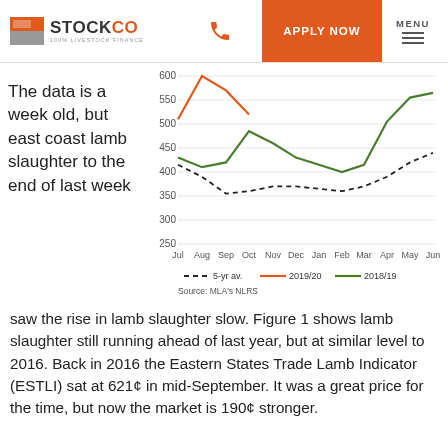STOCKCO | 100% LIVESTOCK FINANCE | APPLY NOW | MENU
The data is a week old, but east coast lamb slaughter to the end of last week
[Figure (line-chart): East Coast Lamb Slaughter]
Source: MLA's NLRS
saw the rise in lamb slaughter slow.  Figure 1 shows lamb slaughter still running ahead of last year, but at similar level to 2016.  Back in 2016 the Eastern States Trade Lamb Indicator (ESTLI) sat at 621¢ in mid-September.  It was a great price for the time, but now the market is 190¢ stronger.